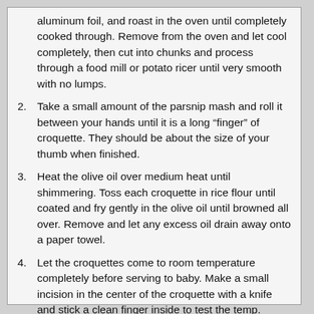aluminum foil, and roast in the oven until completely cooked through. Remove from the oven and let cool completely, then cut into chunks and process through a food mill or potato ricer until very smooth with no lumps.
2. Take a small amount of the parsnip mash and roll it between your hands until it is a long “finger” of croquette. They should be about the size of your thumb when finished.
3. Heat the olive oil over medium heat until shimmering. Toss each croquette in rice flour until coated and fry gently in the olive oil until browned all over. Remove and let any excess oil drain away onto a paper towel.
4. Let the croquettes come to room temperature completely before serving to baby. Make a small incision in the center of the croquette with a knife and stick a clean finger inside to test the temp.
5. These can be made ahead and eaten within two days if kept tightly covered.